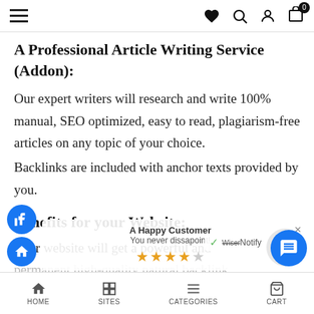Navigation bar with hamburger menu, heart, search, account, cart (0) icons
A Professional Article Writing Service (Addon):
Our expert writers will research and write 100% manual, SEO optimized, easy to read, plagiarism-free articles on any topic of your choice.
Backlinks are included with anchor texts provided by you.
Benefits for your Website:
Your website will get a powerful and permanent high-quality natural backlink, skyrocketing your website rank in Google
HOME   SITES   CATEGORIES   CART